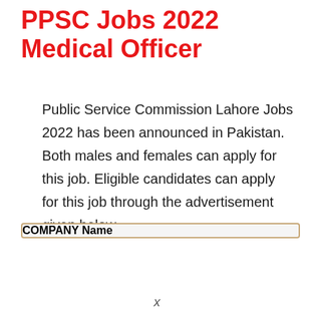PPSC Jobs 2022 Medical Officer
Public Service Commission Lahore Jobs 2022 has been announced in Pakistan. Both males and females can apply for this job. Eligible candidates can apply for this job through the advertisement given below.
| COMPANY |
| --- |
| Name |